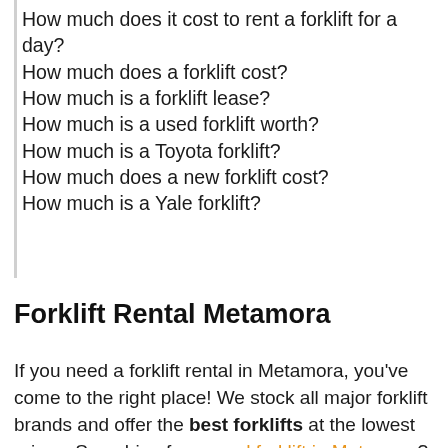How much does it cost to rent a forklift for a day?
How much does a forklift cost?
How much is a forklift lease?
How much is a used forklift worth?
How much is a Toyota forklift?
How much does a new forklift cost?
How much is a Yale forklift?
Forklift Rental Metamora
If you need a forklift rental in Metamora, you've come to the right place! We stock all major forklift brands and offer the best forklifts at the lowest prices. Searching for a used forklift in Metamora? Would you like to review the latest 2021 forklift prices? Would you like to review the latest 2021 forklift rental rates? Take just 20